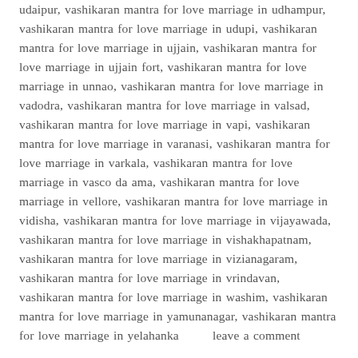udaipur, vashikaran mantra for love marriage in udhampur, vashikaran mantra for love marriage in udupi, vashikaran mantra for love marriage in ujjain, vashikaran mantra for love marriage in ujjain fort, vashikaran mantra for love marriage in unnao, vashikaran mantra for love marriage in vadodra, vashikaran mantra for love marriage in valsad, vashikaran mantra for love marriage in vapi, vashikaran mantra for love marriage in varanasi, vashikaran mantra for love marriage in varkala, vashikaran mantra for love marriage in vasco da ama, vashikaran mantra for love marriage in vellore, vashikaran mantra for love marriage in vidisha, vashikaran mantra for love marriage in vijayawada, vashikaran mantra for love marriage in vishakhapatnam, vashikaran mantra for love marriage in vizianagaram, vashikaran mantra for love marriage in vrindavan, vashikaran mantra for love marriage in washim, vashikaran mantra for love marriage in yamunanagar, vashikaran mantra for love marriage in yelahanka      leave a comment